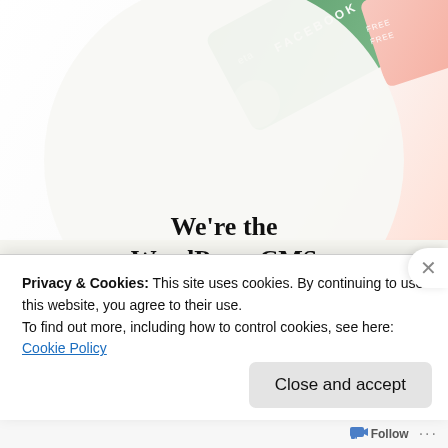[Figure (photo): WordPress VIP advertisement banner showing scattered cards including a Facebook card on a light beige background, with text 'We're the WordPress CMS for Very Important Content' and a WordPress VIP logo with 'Learn more' button]
Privacy & Cookies: This site uses cookies. By continuing to use this website, you agree to their use.
To find out more, including how to control cookies, see here: Cookie Policy
Close and accept
Follow ...